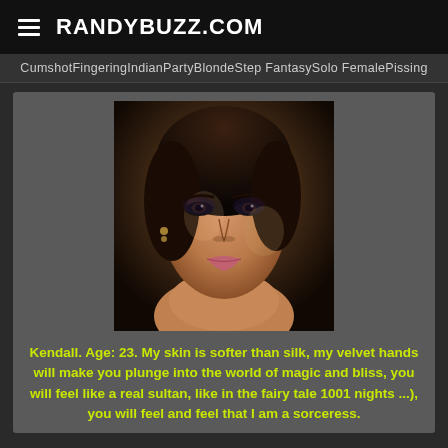RANDYBUZZ.COM
Cumshot  Fingering  Indian  Party  Blonde  Step Fantasy  Solo Female  Pissing
[Figure (photo): Portrait photo of a woman with dark hair, dramatic makeup, looking at camera]
Kendall. Age: 23. My skin is softer than silk, my velvet hands will make you plunge into the world of magic and bliss, you will feel like a real sultan, like in the fairy tale 1001 nights ...), you will feel and feel that I am a sorceress.
Hottest Asian bbw Porn Videos (81)